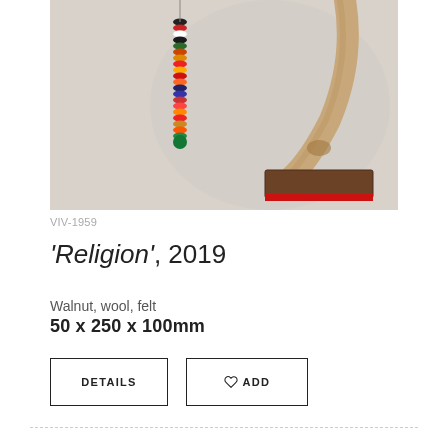[Figure (photo): Close-up photograph of an art sculpture on a light grey background. On the left hangs a vertical strand of stacked colorful felt circles in various colors (red, orange, green, black, white, blue, purple). On the right is a curved wooden branch of light tan wood arching from upper right downward, with a rectangular block of dark walnut wood at its base from which a strip of red felt protrudes.]
VIV-1959
'Religion', 2019
Walnut, wool, felt
50 x 250 x 100mm